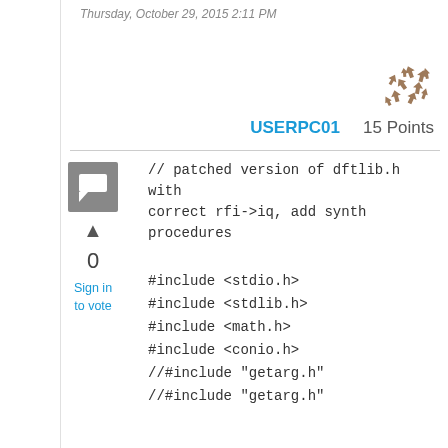Thursday, October 29, 2015 2:11 PM
[Figure (illustration): User avatar with decorative arrow/star pattern in brown tones]
USERPC01   15 Points
[Figure (illustration): Gray square reply/comment icon with chat bubble symbol]
▲
0
Sign in
to vote
// patched version of dftlib.h with correct rfi->iq, add synth procedures
#include <stdio.h>
#include <stdlib.h>
#include <math.h>
#include <conio.h>
//#include "getarg.h"
//#include "getarg.h"